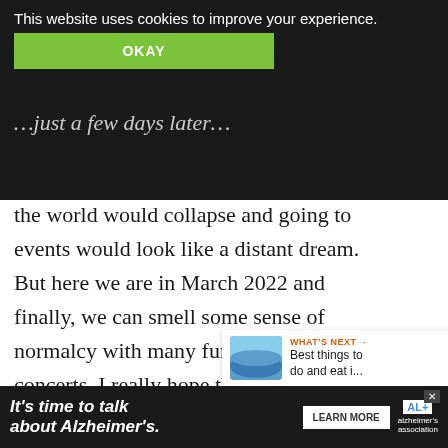This website uses cookies to improve your experience. [OKAY button]
the world would collapse and going to events would look like a distant dream. But here we are in March 2022 and finally, we can smell some sense of normalcy with many fun festivals and concerts. I really hope that the weather will improve soon because it's a sha[me] to waste such a busy month on rainy days at home. Those who have been followi[ng for] a while know that I got you covered for rainy d[ays...]
[Figure (other): Heart/like button (blue circle with heart icon) with count of 1, and share button below it]
[Figure (other): What's Next panel: thumbnail image of beach/ocean scene, label 'WHAT'S NEXT →', text 'Best things to do and eat i...']
[Figure (other): Advertisement banner: 'It's time to talk about Alzheimer's.' with LEARN MORE button and Alzheimer's Association logo]